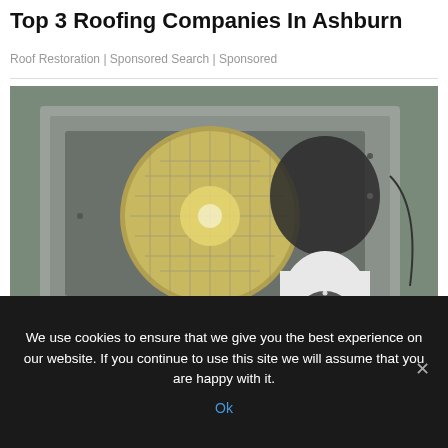Top 3 Roofing Companies In Ashburn
Roof Restoration | Sponsored Search | Sponsored
[Figure (photo): Black and white photo of a security camera mounted below a large round flood light fixture attached to the side of a house with horizontal siding.]
We use cookies to ensure that we give you the best experience on our website. If you continue to use this site we will assume that you are happy with it.
Ok